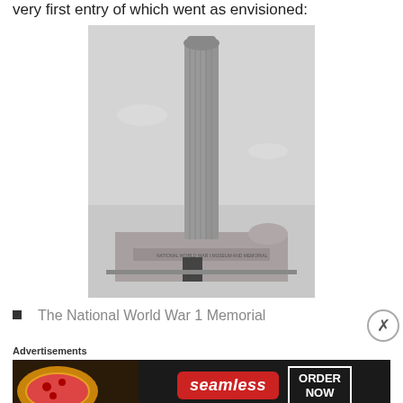very first entry of which went as envisioned:
[Figure (photo): Black and white photograph of the National World War 1 Memorial tower – a tall fluted cylindrical column with a rounded top, with the memorial building visible at its base.]
The National World War 1 Memorial
Advertisements
[Figure (other): Seamless food delivery advertisement banner showing pizza on the left, a red Seamless logo in the center, and an 'ORDER NOW' button on the right, on a dark background.]